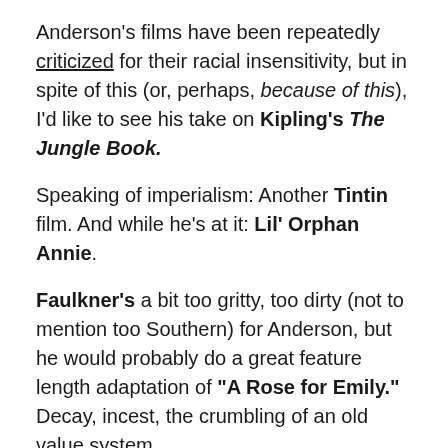Anderson's films have been repeatedly criticized for their racial insensitivity, but in spite of this (or, perhaps, because of this), I'd like to see his take on Kipling's The Jungle Book.
Speaking of imperialism: Another Tintin film. And while he's at it: Lil' Orphan Annie.
Faulkner's a bit too gritty, too dirty (not to mention too Southern) for Anderson, but he would probably do a great feature length adaptation of "A Rose for Emily." Decay, incest, the crumbling of an old value system.
And: It's about time someone made that Night Court movie, right? Okay, maybe not.